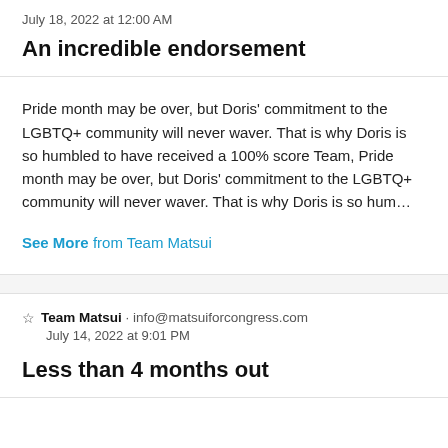July 18, 2022 at 12:00 AM
An incredible endorsement
Pride month may be over, but Doris' commitment to the LGBTQ+ community will never waver. That is why Doris is so humbled to have received a 100% score Team, Pride month may be over, but Doris' commitment to the LGBTQ+ community will never waver. That is why Doris is so hum…
See More from Team Matsui
Team Matsui · info@matsuiforcongress.com
July 14, 2022 at 9:01 PM
Less than 4 months out